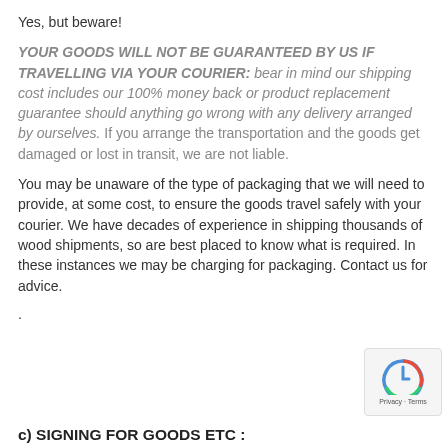Yes, but beware!
YOUR GOODS WILL NOT BE GUARANTEED BY US IF TRAVELLING VIA YOUR COURIER:  bear in mind our shipping cost includes our 100% money back or product replacement guarantee should anything go wrong with any delivery arranged by ourselves.  If you arrange the transportation and the goods get damaged or lost in transit,  we are not liable.
You may be unaware of the type of packaging that we will need to provide, at some cost, to ensure the goods travel safely with your courier.  We have decades of experience in shipping thousands of wood shipments, so are best placed to know what is required.  In these instances we may be charging for packaging.  Contact us for advice.
.
c) SIGNING FOR GOODS ETC :